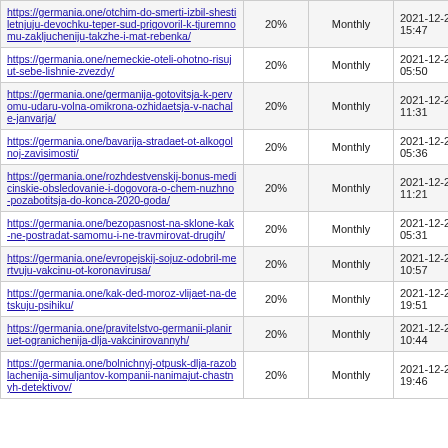| URL | Percentage | Frequency | Date |
| --- | --- | --- | --- |
| https://germania.one/otchim-do-smerti-izbil-shestiletnjuju-devochku-teper-sud-prigovoril-k-tjuremnomu-zakljucheniju-takzhe-i-mat-rebenka/ | 20% | Monthly | 2021-12-21 15:47 |
| https://germania.one/nemeckie-oteli-ohotno-risujut-sebe-lishnie-zvezdy/ | 20% | Monthly | 2021-12-21 05:50 |
| https://germania.one/germanija-gotovitsja-k-pervomu-udaru-volna-omikrona-ozhidaetsja-v-nachale-janvarja/ | 20% | Monthly | 2021-12-21 11:31 |
| https://germania.one/bavarija-stradaet-ot-alkogolnoj-zavisimosti/ | 20% | Monthly | 2021-12-21 05:36 |
| https://germania.one/rozhdestvenskij-bonus-medicinskie-obsledovanie-i-dogovora-o-chem-nuzhno-pozabotitsja-do-konca-2020-goda/ | 20% | Monthly | 2021-12-21 11:21 |
| https://germania.one/bezopasnost-na-sklone-kak-ne-postradat-samomu-i-ne-travmirovat-drugih/ | 20% | Monthly | 2021-12-21 05:31 |
| https://germania.one/evropejskij-sojuz-odobril-mertvuju-vakcinu-ot-koronavirusa/ | 20% | Monthly | 2021-12-21 10:57 |
| https://germania.one/kak-ded-moroz-vlijaet-na-detskuju-psihiku/ | 20% | Monthly | 2021-12-20 19:51 |
| https://germania.one/pravitelstvo-germanii-planiruet-ogranichenija-dlja-vakcinirovannyh/ | 20% | Monthly | 2021-12-21 10:44 |
| https://germania.one/bolnichnyj-otpusk-dlja-razoblachenija-simuljantov-kompanii-nanimajut-chastnyh-detektivov/ | 20% | Monthly | 2021-12-20 19:46 |